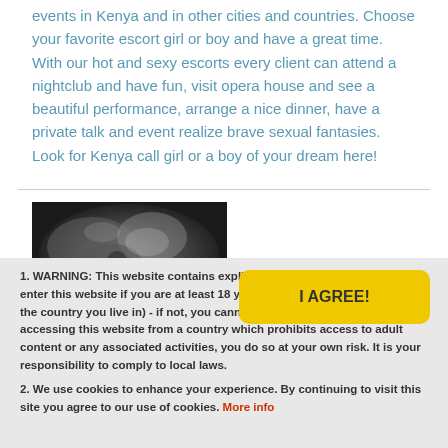events in Kenya and in other cities and countries. Choose your favorite escort girl or boy and have a great time. With our hot and sexy escorts every client can attend a nightclub and have fun, visit opera house and see a beautiful performance, arrange a nice dinner, have a private talk and event realize brave sexual fantasies. Look for Kenya call girl or a boy of your dream here!
[Figure (photo): Close-up black and white photo of a person's face, eyes closed, with a slight hint of pink/red lips visible]
1. WARNING: This website contains explicit adult material. You may only enter this website if you are at least 18 years old (or the age of majority in the country you live in) - if not, you cannot enter the site. If you are accessing this website from a country which prohibits access to adult content or any associated activities, you do so at your own risk. It is your responsibility to comply to local laws.
2. We use cookies to enhance your experience. By continuing to visit this site you agree to our use of cookies. More info